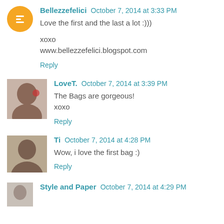Bellezzefelici  October 7, 2014 at 3:33 PM
Love the first and the last a lot :)))

xoxo
www.bellezzefelici.blogspot.com
Reply
LoveT.  October 7, 2014 at 3:39 PM
The Bags are gorgeous!
xoxo
Reply
Ti  October 7, 2014 at 4:28 PM
Wow, i love the first bag :)
Reply
Style and Paper  October 7, 2014 at 4:29 PM